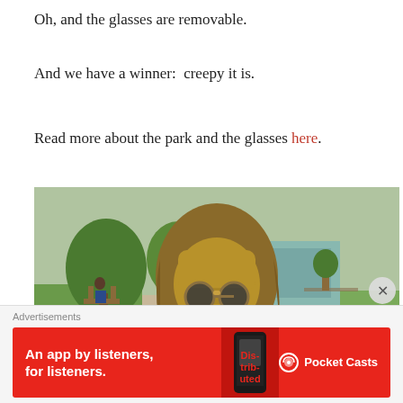Oh, and the glasses are removable.
And we have a winner:  creepy it is.
Read more about the park and the glasses here.
[Figure (photo): Bronze statue of John Lennon with round sunglasses, set in a park with trees and benches in the background.]
Advertisements
[Figure (other): Advertisement banner for Pocket Casts app: red background with white text 'An app by listeners, for listeners.' and Pocket Casts logo on the right.]